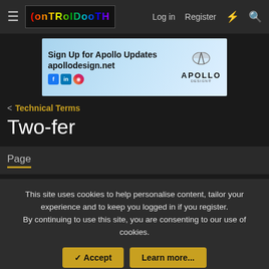ControlBooth — Log in  Register
[Figure (other): Apollo Design advertisement banner: Sign Up for Apollo Updates apollodesign.net with Facebook, LinkedIn, Instagram icons and Apollo Design logo]
< Technical Terms
Two-fer
Page
This site uses cookies to help personalise content, tailor your experience and to keep you logged in if you register. By continuing to use this site, you are consenting to our use of cookies.
✓ Accept   Learn more...
It has two female ends and one male end thus allowing you to get "Two for One." Sometimes also known as a "Y" cable, especially if of the molded type,
http://www.controlbooth.com/ev/Entries...